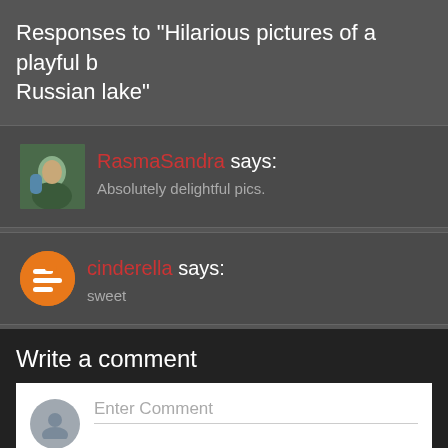Responses to "Hilarious pictures of a playful b... Russian lake"
RasmaSandra says: Absolutely delightful pics.
cinderella says: sweet
Write a comment
Enter Comment